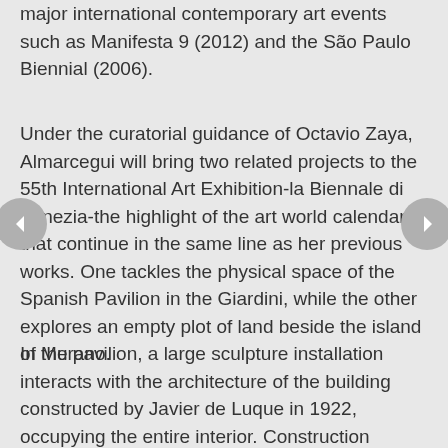major international contemporary art events such as Manifesta 9 (2012) and the São Paulo Biennial (2006).
Under the curatorial guidance of Octavio Zaya, Almarcegui will bring two related projects to the 55th International Art Exhibition-la Biennale di Venezia-the highlight of the art world calendar-that continue in the same line as her previous works. One tackles the physical space of the Spanish Pavilion in the Giardini, while the other explores an empty plot of land beside the island of Murano.
In the pavilion, a large sculpture installation interacts with the architecture of the building constructed by Javier de Luque in 1922, occupying the entire interior. Construction Materials of the